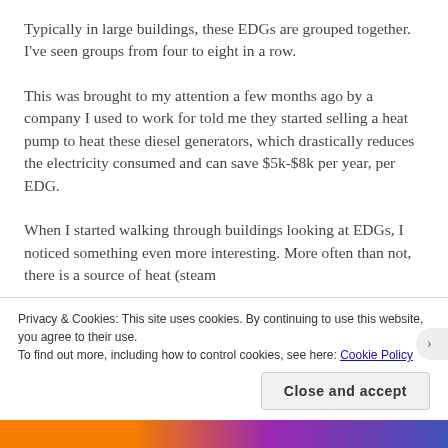Typically in large buildings, these EDGs are grouped together. I've seen groups from four to eight in a row.
This was brought to my attention a few months ago by a company I used to work for told me they started selling a heat pump to heat these diesel generators, which drastically reduces the electricity consumed and can save $5k-$8k per year, per EDG.
When I started walking through buildings looking at EDGs, I noticed something even more interesting. More often than not, there is a source of heat (steam
Privacy & Cookies: This site uses cookies. By continuing to use this website, you agree to their use.
To find out more, including how to control cookies, see here: Cookie Policy
Close and accept